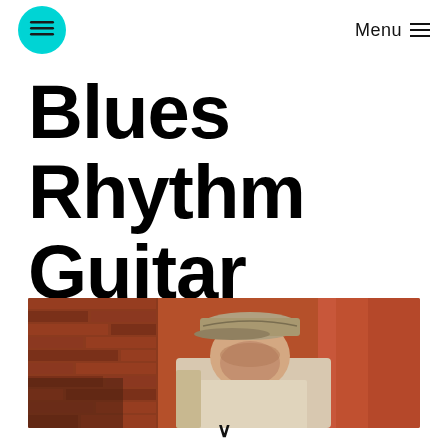Menu
Blues Rhythm Guitar Lesson
[Figure (photo): A person wearing a newsboy cap looking downward, standing near a brick wall and column in warm reddish tones.]